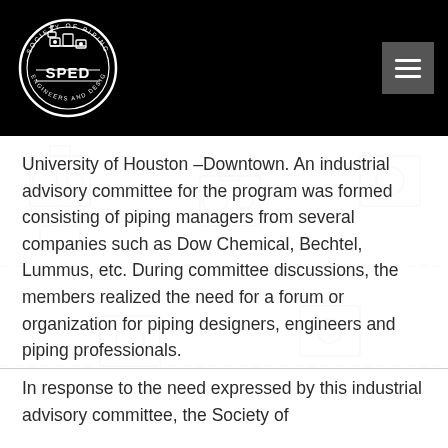[Figure (logo): SPED Society of Piping Engineers and Designers circular logo in white on black background]
University of Houston –Downtown. An industrial advisory committee for the program was formed consisting of piping managers from several companies such as Dow Chemical, Bechtel, Lummus, etc. During committee discussions, the members realized the need for a forum or organization for piping designers, engineers and piping professionals.
In response to the need expressed by this industrial advisory committee, the Society of